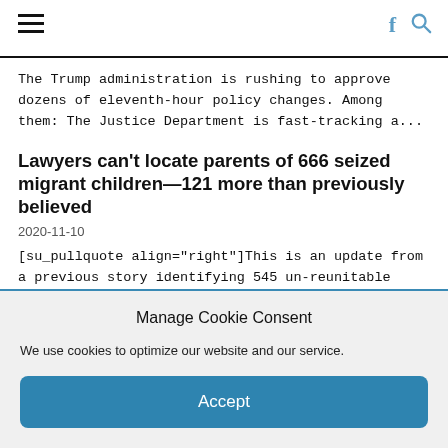≡  f 🔍
The Trump administration is rushing to approve dozens of eleventh-hour policy changes. Among them: The Justice Department is fast-tracking a...
Lawyers can't locate parents of 666 seized migrant children—121 more than previously believed
2020-11-10
[su_pullquote align="right"]This is an update from a previous story identifying 545 un-reunitable children.[/su_pullquote].    The children were separated from their families...
Trump got what he wanted at the border. Would Biden undo it?
2020-10-28
Manage Cookie Consent
We use cookies to optimize our website and our service.
Accept